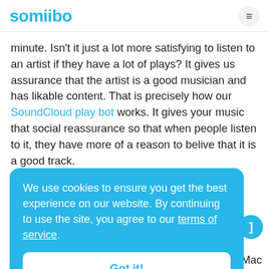somiibo
minute. Isn't it just a lot more satisfying to listen to an artist if they have a lot of plays? It gives us assurance that the artist is a good musician and has likable content. That is precisely how our SoundCloud play bot works. It gives your music that social reassurance so that when people listen to it, they have more of a reason to belive that it is a good track.
We use cookies to ensure you get the best experience on our website. By continuing to use the site, you agree to our terms of service.
Got it!
rom
think that a different device (such as an iPhone, Mac